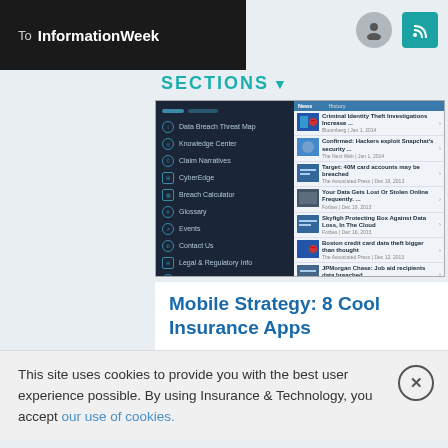To InformationWeek
SECTIONS
[Figure (screenshot): Mobile app screenshot showing an insurance/cybersecurity news app with a dark left menu panel listing items: Data Breach Threat Map, Knowledge Center, Claim Narratives, CyberEdge, Breach Calculator, Glossary, Events, Contact Us, Legal & Regulatory Info, Favorites, Brokers; and a right panel showing news articles about data breaches and hacking.]
Mobile Strategy: 8 Cool Insurance Apps
This site uses cookies to provide you with the best user experience possible. By using Insurance & Technology, you accept our use of cookies.